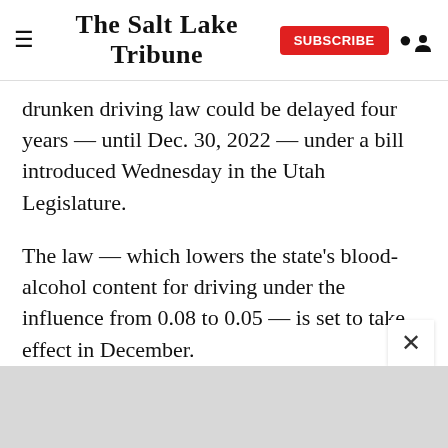The Salt Lake Tribune
drunken driving law could be delayed four years — until Dec. 30, 2022 — under a bill introduced Wednesday in the Utah Legislature.
The law — which lowers the state's blood-alcohol content for driving under the influence from 0.08 to 0.05 — is set to take effect in December.
The law makes Utah the first state in the country to adopt the tougher limit.